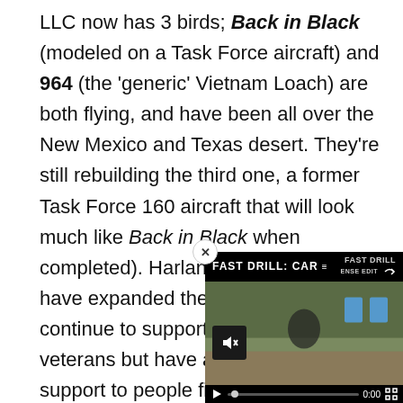LLC now has 3 birds; Back in Black (modeled on a Task Force aircraft) and 964 (the 'generic' Vietnam Loach) are both flying, and have been all over the New Mexico and Texas desert. They're still rebuilding the third one, a former Task Force 160 aircraft that will look much like Back in Black when completed). Harland and his crew also have expanded their mission. They continue to support local disabled veterans but have also provided support to people filming television shows, videos and movies (you may have seen Harland as "Pilot X" in a M instance, and in some indu More recently they've help and LE agencies with som
[Figure (screenshot): Video overlay showing 'FAST DRILL: CAR...' with video controls including mute button, play button, progress bar showing 0:00, and fullscreen button. Video frame shows outdoor scene with blue targets.]